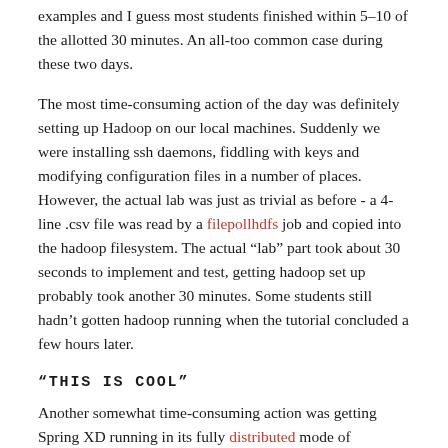examples and I guess most students finished within 5–10 of the allotted 30 minutes. An all-too common case during these two days.
The most time-consuming action of the day was definitely setting up Hadoop on our local machines. Suddenly we were installing ssh daemons, fiddling with keys and modifying configuration files in a number of places. However, the actual lab was just as trivial as before - a 4-line .csv file was read by a filepollhdfs job and copied into the hadoop filesystem. The actual "lab" part took about 30 seconds to implement and test, getting hadoop set up probably took another 30 minutes. Some students still hadn't gotten hadoop running when the tutorial concluded a few hours later.
“THIS IS COOL”
Another somewhat time-consuming action was getting Spring XD running in its fully distributed mode of operation. That required standalone installations of Redis, ZooKeeper and HSQLDB, some configuration changes to